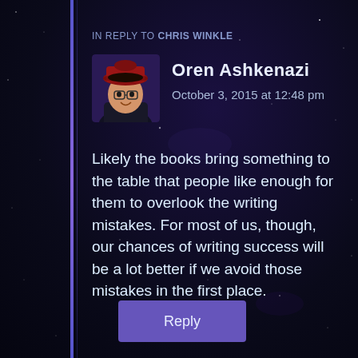IN REPLY TO CHRIS WINKLE
[Figure (photo): Avatar photo of Oren Ashkenazi wearing a red hat, illustrated/painted style, against purple background]
Oren Ashkenazi
October 3, 2015 at 12:48 pm
Likely the books bring something to the table that people like enough for them to overlook the writing mistakes. For most of us, though, our chances of writing success will be a lot better if we avoid those mistakes in the first place.
Reply